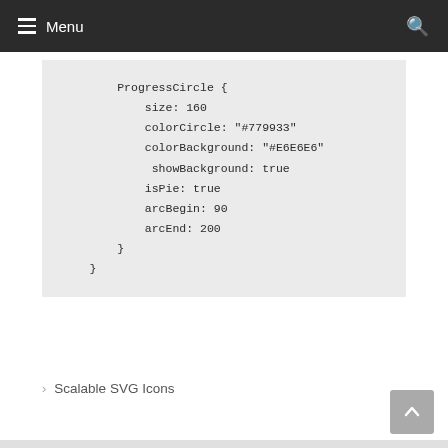≡ Menu 🔍
ProgressCircle {
    size: 160
    colorCircle: "#779933"
    colorBackground: "#E6E6E6"
     showBackground: true
    isPie: true
    arcBegin: 90
    arcEnd: 200
    }
}
> Scalable SVG Icons